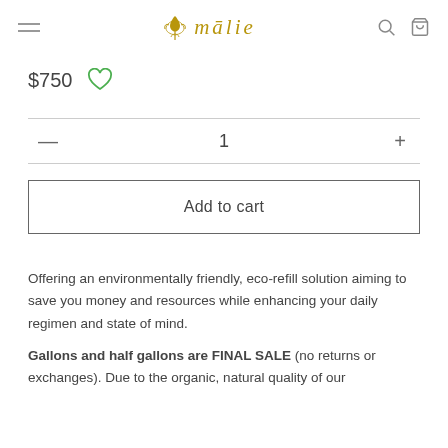mālie
$750
1
Add to cart
Offering an environmentally friendly, eco-refill solution aiming to save you money and resources while enhancing your daily regimen and state of mind.
Gallons and half gallons are FINAL SALE (no returns or exchanges). Due to the organic, natural quality of our